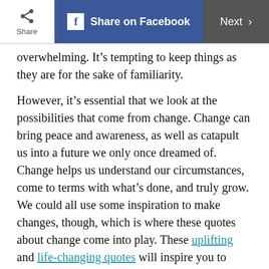Share | Share on Facebook | Next >
overwhelming. It’s tempting to keep things as they are for the sake of familiarity.
However, it’s essential that we look at the possibilities that come from change. Change can bring peace and awareness, as well as catapult us into a future we only once dreamed of. Change helps us understand our circumstances, come to terms with what’s done, and truly grow. We could all use some inspiration to make changes, though, which is where these quotes about change come into play. These uplifting and life-changing quotes will inspire you to break out of your shell and start a new chapter. After reading these quotes about change, bookmark these quotes about life being short for more motivation.